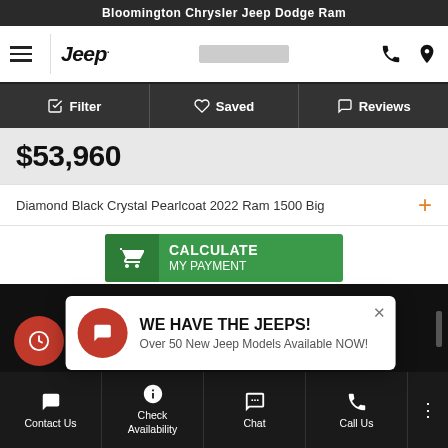Bloomington Chrysler Jeep Dodge Ram
[Figure (screenshot): Navigation bar with hamburger menu, Jeep logo, search bar placeholder, phone and location icons]
Filter | Saved | Reviews
$53,960
Diamond Black Crystal Pearlcoat 2022 Ram 1500 Big
[Figure (other): Green Calculate My Payment button with shopping cart icon]
[Figure (other): Dark band section with red circle speedometer button and popup overlay: WE HAVE THE JEEPS! Over 50 New Jeep Models Available NOW!]
Contact Us | Check Availability | Chat | Call Us